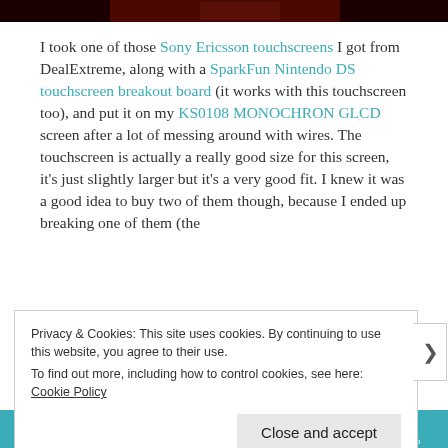[Figure (photo): Top strip of a photo showing a dark red/maroon background, partially visible]
I took one of those Sony Ericsson touchscreens I got from DealExtreme, along with a SparkFun Nintendo DS touchscreen breakout board (it works with this touchscreen too), and put it on my KS0108 MONOCHRON GLCD screen after a lot of messing around with wires. The touchscreen is actually a really good size for this screen, it's just slightly larger but it's a very good fit. I knew it was a good idea to buy two of them though, because I ended up breaking one of them (the
Privacy & Cookies: This site uses cookies. By continuing to use this website, you agree to their use.
To find out more, including how to control cookies, see here: Cookie Policy
Close and accept
[Figure (photo): Bottom strip showing a teal/cyan colored image with a white rectangle in the center]